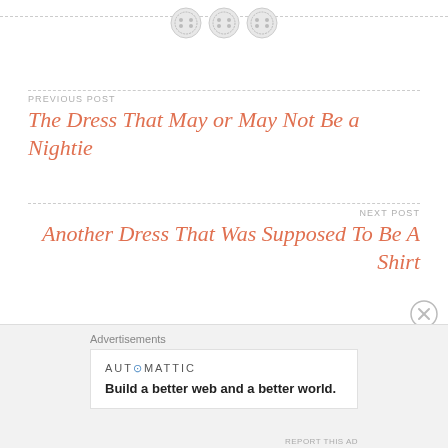[Figure (illustration): Three decorative buttons arranged in a row along a dashed horizontal line at the top of the page]
PREVIOUS POST
The Dress That May or May Not Be a Nightie
NEXT POST
Another Dress That Was Supposed To Be A Shirt
Advertisements
[Figure (logo): Automattic logo with blue dot in O]
Build a better web and a better world.